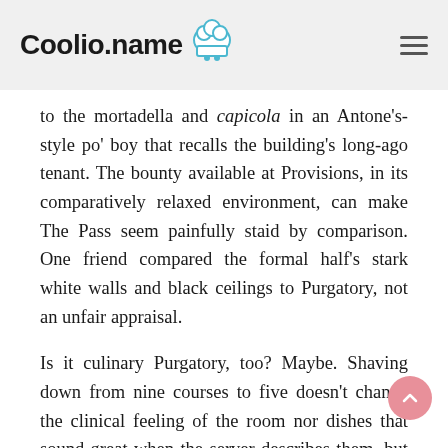Coolio.name
to the mortadella and capicola in an Antone's-style po' boy that recalls the building's long-ago tenant. The bounty available at Provisions, in its comparatively relaxed environment, can make The Pass seem painfully staid by comparison. One friend compared the formal half's stark white walls and black ceilings to Purgatory, not an unfair appraisal.
Is it culinary Purgatory, too? Maybe. Shaving down from nine courses to five doesn't change the clinical feeling of the room nor dishes that sound great when the server describes them, but which often end up as less than the sum of their